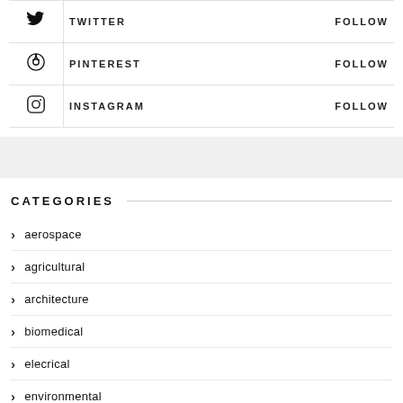| Icon | Platform | Action |
| --- | --- | --- |
| [twitter icon] | TWITTER | FOLLOW |
| [pinterest icon] | PINTEREST | FOLLOW |
| [instagram icon] | INSTAGRAM | FOLLOW |
CATEGORIES
aerospace
agricultural
architecture
biomedical
elecrical
environmental